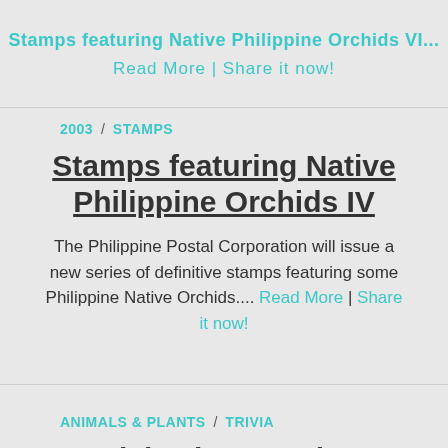Stamps featuring Native Philippine Orchids VI... Read More | Share it now!
2003 / STAMPS
Stamps featuring Native Philippine Orchids IV
The Philippine Postal Corporation will issue a new series of definitive stamps featuring some Philippine Native Orchids.... Read More | Share it now!
ANIMALS & PLANTS / TRIVIA
Trivia about Native Philippine Orchids IV